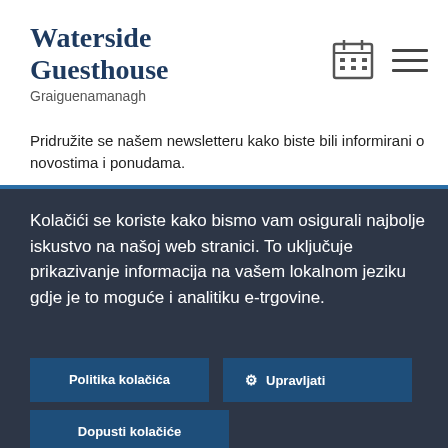Waterside Guesthouse
Graiguenamanagh
[Figure (other): Calendar icon and hamburger menu icon in the top right header area]
Pridružite se našem newsletteru kako biste bili informirani o novostima i ponudama.
Kolačići se koriste kako bismo vam osigurali najbolje iskustvo na našoj web stranici. To uključuje prikazivanje informacija na vašem lokalnom jeziku gdje je to moguće i analitiku e-trgovine.
Politika kolačića
⚙ Upravljati
Dopusti kolačiće